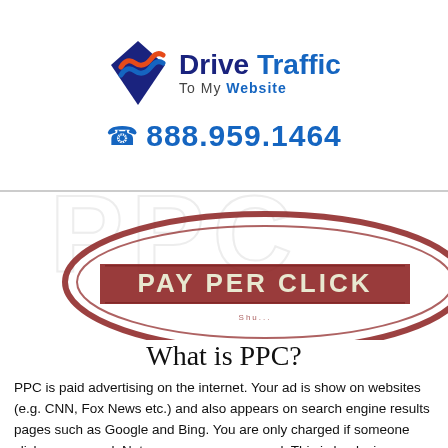[Figure (logo): Drive Traffic To My Website logo with stylized wave/diamond icon and company name]
☎ 888.959.1464
[Figure (illustration): A red rubber stamp impression with text 'PAY PER CLICK']
What is PPC?
PPC is paid advertising on the internet. Your ad is show on websites (e.g. CNN, Fox News etc.) and also appears on search engine results pages such as Google and Bing. You are only charged if someone clicks on your ad. Not everyone sees your ad. This is by design as we only want to show your ads to people who are most likely to use your product or service.